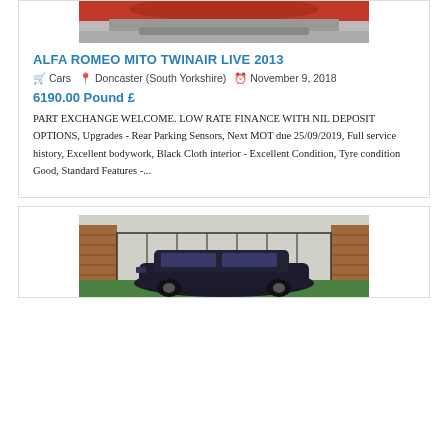[Figure (photo): Partial view of a red Alfa Romeo Mito car from above/front, cropped at top]
ALFA ROMEO MITO TWINAIR LIVE 2013
Cars  Doncaster (South Yorkshire)  November 9, 2018
6190.00 Pound £
PART EXCHANGE WELCOME. LOW RATE FINANCE WITH NIL DEPOSIT OPTIONS, Upgrades - Rear Parking Sensors, Next MOT due 25/09/2019, Full service history, Excellent bodywork, Black Cloth interior - Excellent Condition, Tyre condition Good, Standard Features -...
[Figure (photo): Partial view of a dark/black car parked in front of brick gate pillars with iron gates, green grass visible]